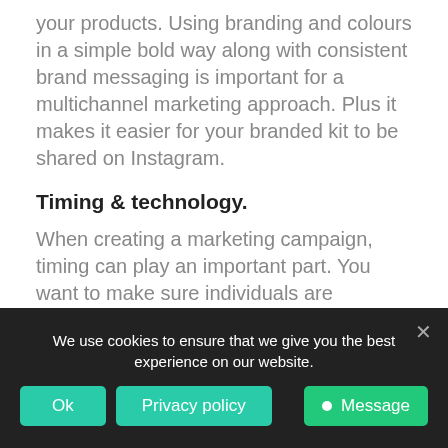your products. Using branding and colours in a simple bold way along with consistent brand messaging is important for a multichannel marketing approach. Plus it makes it easier for your branded kit to be shared on Instagram.
Timing & technology.
When creating a marketing campaign, timing can play an important part. You want to make sure individuals are receiving their packs in a time frame consistent with start dates, online campaigns, and social media posts. Automation and using the right tools can make follow-ups easy.
Track your results.
Analytics should be a major component in a multichannel
We use cookies to ensure that we give you the best experience on our website.